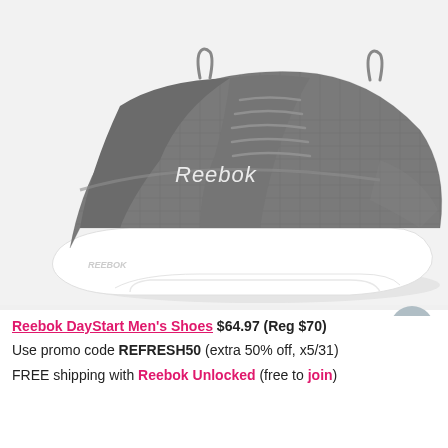[Figure (photo): Close-up photo of a gray Reebok DayStart men's athletic shoe with white sole on a white/light gray background. The shoe has mesh upper material with 'Reebok' branding visible on the side.]
Reebok DayStart Men's Shoes $64.97 (Reg $70) Use promo code REFRESH50 (extra 50% off, x5/31) FREE shipping with Reebok Unlocked (free to join)